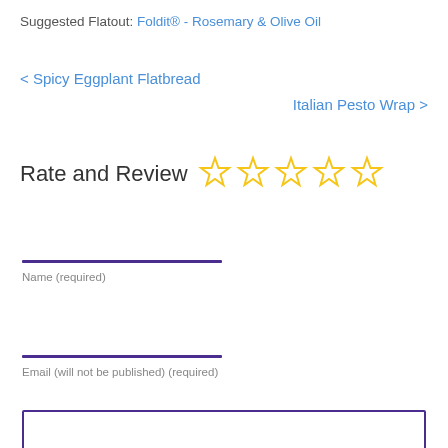Suggested Flatout: Foldit® - Rosemary & Olive Oil
< Spicy Eggplant Flatbread
Italian Pesto Wrap >
Rate and Review ☆☆☆☆☆
Name (required)
Email (will not be published) (required)